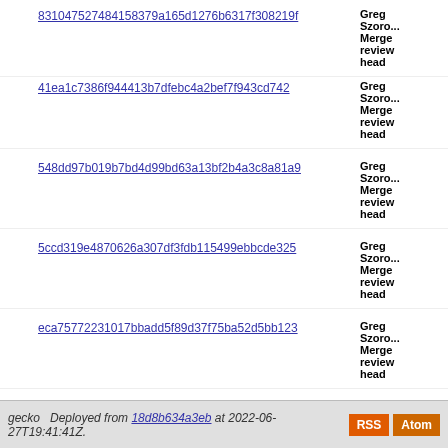831047527484158379a165d1276b6317f308219f — Greg Szorc... Merge review head
41ea1c7386f944413b7dfebc4a2bef7f943cd742 — Greg Szorc... Merge review head
548dd97b019b7bd4d99bd63a13bf2b4a3c8a81a9 — Greg Szorc... Merge review head
5ccd319e4870626a307df3fdb115499ebbcde325 — Greg Szorc... Merge review head
eca75772231017bbadd5f89d37f75ba52d5bb123 — Greg Szorc... Merge review head
Page 1
gecko  Deployed from 18d8b634a3eb at 2022-06-27T19:41:41Z.  RSS  Atom